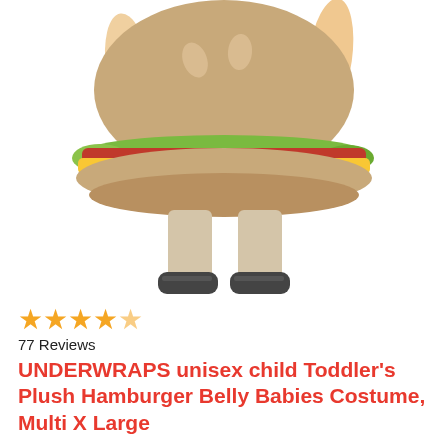[Figure (photo): A child wearing a hamburger belly babies costume — a large plush hamburger body suit with bun, lettuce, tomato, and cheese layers visible. The child's legs and shoes are visible below the costume.]
77 Reviews
UNDERWRAPS unisex child Toddler's Plush Hamburger Belly Babies Costume, Multi X Large